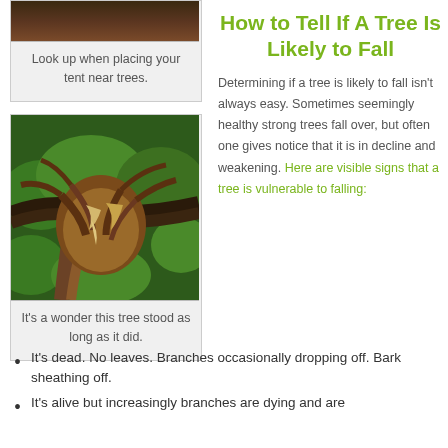Look up when placing your tent near trees.
How to Tell If A Tree Is Likely to Fall
[Figure (photo): Fallen or uprooted tree with exposed roots and damaged trunk surrounded by green foliage]
It's a wonder this tree stood as long as it did.
Determining if a tree is likely to fall isn't always easy. Sometimes seemingly healthy strong trees fall over, but often one gives notice that it is in decline and weakening. Here are visible signs that a tree is vulnerable to falling:
It's dead. No leaves. Branches occasionally dropping off. Bark sheathing off.
It's alive but increasingly branches are dying and are